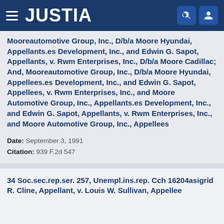JUSTIA
Mooreautomotive Group, Inc., D/b/a Moore Hyundai, Appellants.es Development, Inc., and Edwin G. Sapot, Appellants, v. Rwm Enterprises, Inc., D/b/a Moore Cadillac; And, Mooreautomotive Group, Inc., D/b/a Moore Hyundai, Appellees.es Development, Inc., and Edwin G. Sapot, Appellees, v. Rwm Enterprises, Inc., and Moore Automotive Group, Inc., Appellants.es Development, Inc., and Edwin G. Sapot, Appellants, v. Rwm Enterprises, Inc., and Moore Automotive Group, Inc., Appellees
Date: September 3, 1991
Citation: 939 F.2d 547
34 Soc.sec.rep.ser. 257, Unempl.ins.rep. Cch 16204asigrid R. Cline, Appellant, v. Louis W. Sullivan, Appellee